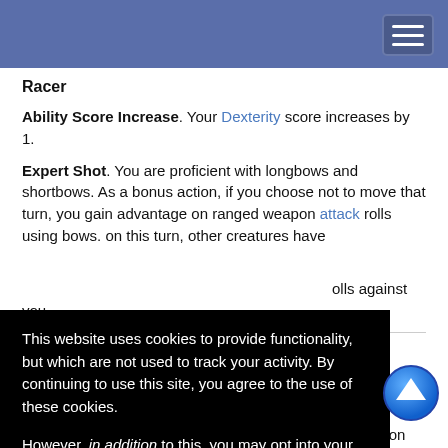Navigation bar with hamburger menu
Racer
Ability Score Increase. Your Dexterity score increases by 1.
Expert Shot. You are proficient with longbows and shortbows. As a bonus action, if you choose not to move that turn, you gain advantage on ranged weapon attack rolls using bows. on this turn, other creatures have … rolls against you.
… birth to wield … sure that their … t their oppon…
Prerequisite(s): Centaur
This website uses cookies to provide functionality, but which are not used to track your activity. By continuing to use this site, you agree to the use of these cookies.

However, in addition to this, you may opt into your activity being tracked in order to help us improve our service.

For more information, please click here
OK | No, thank you